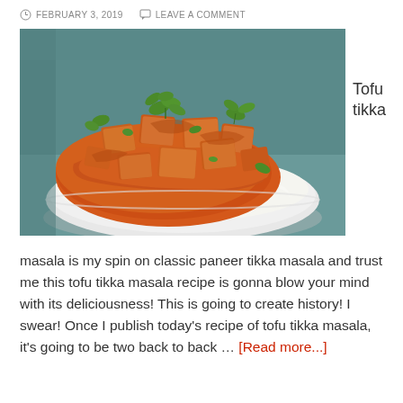FEBRUARY 3, 2019   LEAVE A COMMENT
[Figure (photo): A white bowl filled with tofu tikka masala (orange-red spiced tofu cubes) over white rice, garnished with fresh cilantro, on a teal/blue background.]
Tofu tikka
masala is my spin on classic paneer tikka masala and trust me this tofu tikka masala recipe is gonna blow your mind with its deliciousness! This is going to create history! I swear! Once I publish today's recipe of tofu tikka masala, it's going to be two back to back … [Read more...]